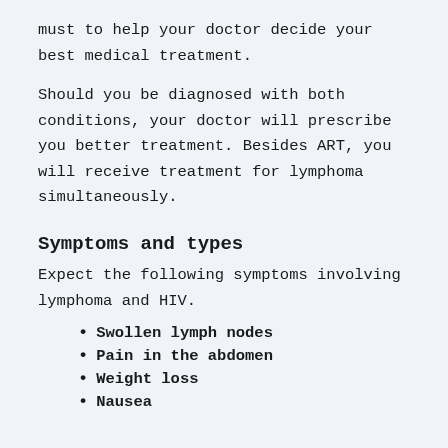must to help your doctor decide your best medical treatment.
Should you be diagnosed with both conditions, your doctor will prescribe you better treatment. Besides ART, you will receive treatment for lymphoma simultaneously.
Symptoms and types
Expect the following symptoms involving lymphoma and HIV.
Swollen lymph nodes
Pain in the abdomen
Weight loss
Nausea